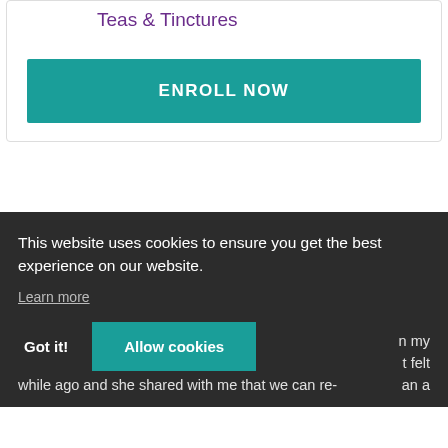Teas & Tinctures
ENROLL NOW
This website uses cookies to ensure you get the best experience on our website.
Learn more
Got it!
Allow cookies
n my t felt an a while ago and she shared with me that we can re-